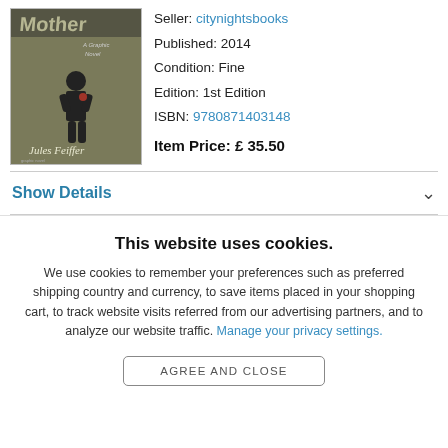[Figure (photo): Book cover for a graphic novel by Jules Feiffer titled 'Mother', olive/khaki background with a figure illustration]
Seller: citynightsbooks
Published: 2014
Condition: Fine
Edition: 1st Edition
ISBN: 9780871403148
Item Price: £35.50
Show Details
This website uses cookies.
We use cookies to remember your preferences such as preferred shipping country and currency, to save items placed in your shopping cart, to track website visits referred from our advertising partners, and to analyze our website traffic. Manage your privacy settings.
AGREE AND CLOSE